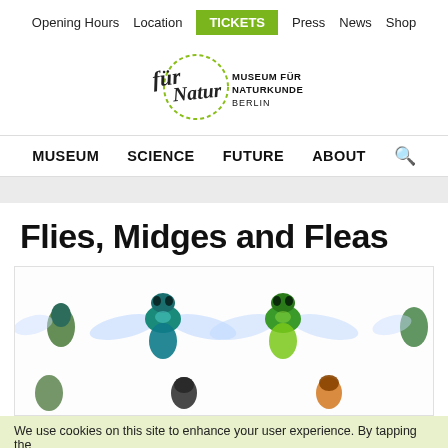Opening Hours | Location | TICKETS | Press | News | Shop
[Figure (logo): Museum für Naturkunde Berlin logo with stylized cursive text and green circle]
MUSEUM | SCIENCE | FUTURE | ABOUT | [search icon]
Flies, Midges and Fleas
[Figure (photo): Several metallic green flies (specimens) pinned and displayed on white background, showing dorsal view with wings spread]
We use cookies on this site to enhance your user experience. By tapping the